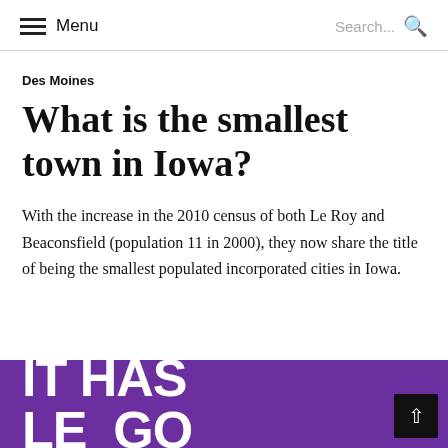Menu | Search...
Des Moines
What is the smallest town in Iowa?
With the increase in the 2010 census of both Le Roy and Beaconsfield (population 11 in 2000), they now share the title of being the smallest populated incorporated cities in Iowa.
[Figure (infographic): Purple banner with large white bold text beginning 'IT HAS' and partially visible second line, on a purple background]